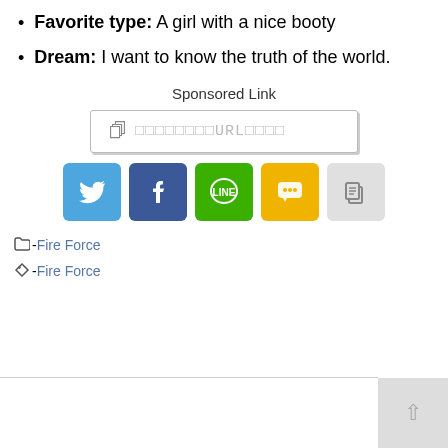Favorite type: A girl with a nice booty
Dream: I want to know the truth of the world.
Sponsored Link
[Figure (screenshot): URL input box with clipboard icon and placeholder text for URL]
[Figure (infographic): Social share buttons: Twitter, Facebook, LINE, chat/message (yellow), copy (gray)]
Fire Force (category link)
Fire Force (tag link)